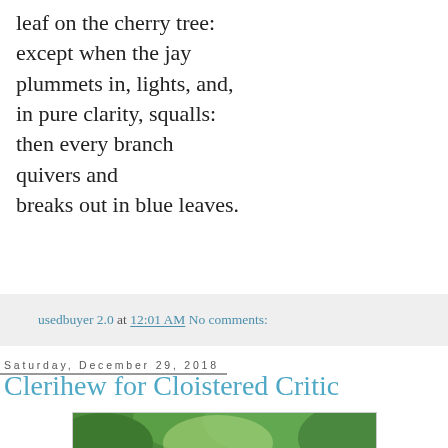leaf on the cherry tree:
except when the jay
plummets in, lights, and,
in pure clarity, squalls:
then every branch
quivers and
breaks out in blue leaves.
usedbuyer 2.0 at 12:01 AM   No comments:
Saturday, December 29, 2018
Clerihew for Cloistered Critic
[Figure (photo): A vintage teal/turquoise trailer or caravan partially hidden by dense green foliage and trees]